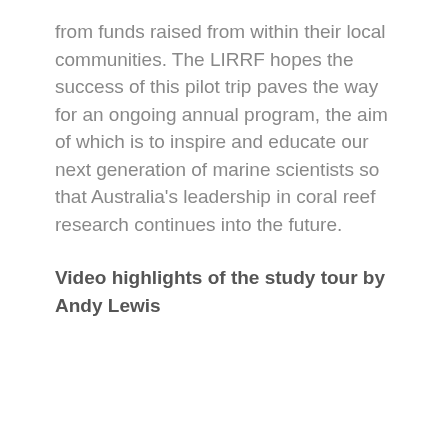from funds raised from within their local communities. The LIRRF hopes the success of this pilot trip paves the way for an ongoing annual program, the aim of which is to inspire and educate our next generation of marine scientists so that Australia's leadership in coral reef research continues into the future.
Video highlights of the study tour by Andy Lewis